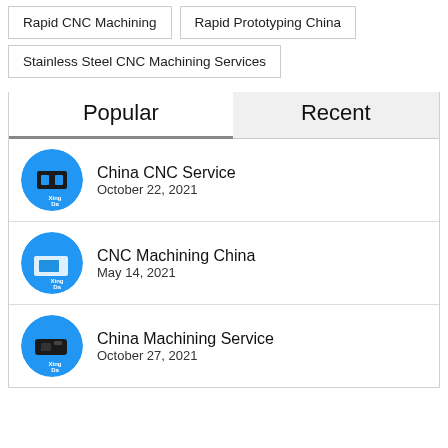Rapid CNC Machining
Rapid Prototyping China
Stainless Steel CNC Machining Services
Popular
Recent
China CNC Service
October 22, 2021
CNC Machining China
May 14, 2021
China Machining Service
October 27, 2021